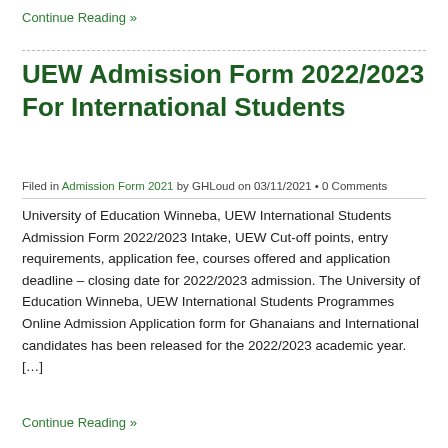Continue Reading »
UEW Admission Form 2022/2023 For International Students
Filed in Admission Form 2021 by GHLoud on 03/11/2021 • 0 Comments
University of Education Winneba, UEW International Students Admission Form 2022/2023 Intake, UEW Cut-off points, entry requirements, application fee, courses offered and application deadline – closing date for 2022/2023 admission. The University of Education Winneba, UEW International Students Programmes Online Admission Application form for Ghanaians and International candidates has been released for the 2022/2023 academic year. […]
Continue Reading »